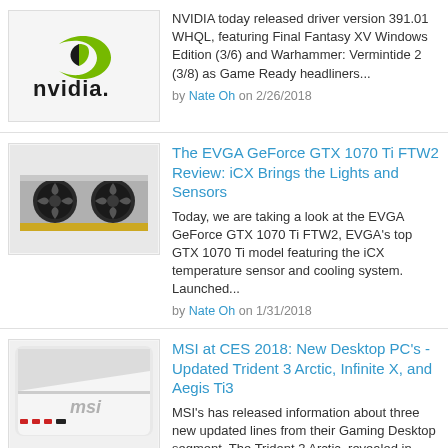[Figure (logo): NVIDIA logo with green swoosh icon and black NVIDIA wordmark]
NVIDIA today released driver version 391.01 WHQL, featuring Final Fantasy XV Windows Edition (3/6) and Warhammer: Vermintide 2 (3/8) as Game Ready headliners...
by Nate Oh on 2/26/2018
[Figure (photo): EVGA GeForce GTX 1070 Ti FTW2 graphics card with dual fans]
The EVGA GeForce GTX 1070 Ti FTW2 Review: iCX Brings the Lights and Sensors
Today, we are taking a look at the EVGA GeForce GTX 1070 Ti FTW2, EVGA's top GTX 1070 Ti model featuring the iCX temperature sensor and cooling system. Launched...
by Nate Oh on 1/31/2018
[Figure (photo): MSI white gaming desktop PC with MSI branding]
MSI at CES 2018: New Desktop PC's - Updated Trident 3 Arctic, Infinite X, and Aegis Ti3
MSI's has released information about three new updated lines from their Gaming Desktop segment. The Trident 3 Arctic, revealed in March 2017, The Infinite X, and the Aegis Ti3...
by Joe Shields on 1/11/2018